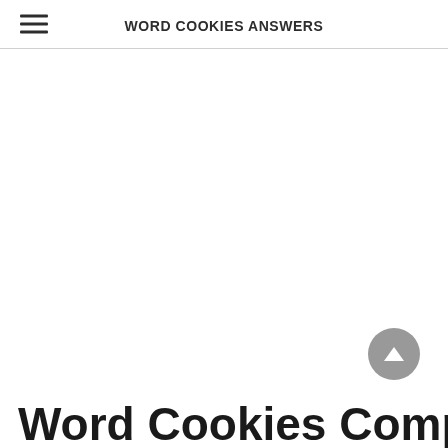WORD COOKIES ANSWERS
Word Cookies Compbel